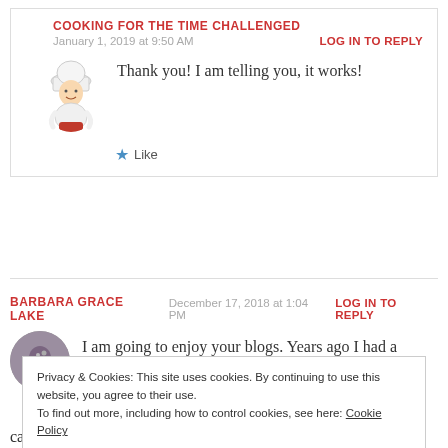COOKING FOR THE TIME CHALLENGED
January 1, 2019 at 9:50 AM
LOG IN TO REPLY
Thank you! I am telling you, it works!
Like
BARBARA GRACE LAKE   December 17, 2018 at 1:04 PM   LOG IN TO REPLY
I am going to enjoy your blogs. Years ago I had a
can get, but not at the expense of quality
Privacy & Cookies: This site uses cookies. By continuing to use this website, you agree to their use. To find out more, including how to control cookies, see here: Cookie Policy
Close and accept